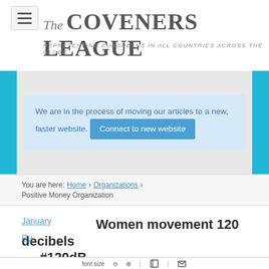The COVENERS LEAGUE — REPRESENTING EUROPEANS IN ALL COUNTRIES ACROSS THE GLOBE
We are in the process of moving our articles to a new, faster website. Connect to new website
You are here: Home > Organizations > Positive Money Organization
Women movement 120 decibels #120dB
font size - + [print] [email]